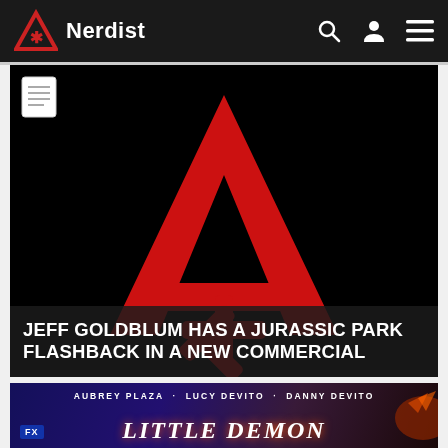Nerdist
[Figure (logo): Nerdist logo: red triangle with asterisk symbol on black background, large centered red letter A shape]
JEFF GOLDBLUM HAS A JURASSIC PARK FLASHBACK IN A NEW COMMERCIAL
[Figure (screenshot): FX Little Demon show promo banner with text: AUBREY PLAZA · LUCY DEVITO · DANNY DEVITO and LITTLE DEMON title]